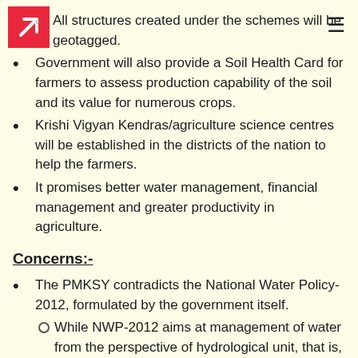All structures created under the schemes will be geotagged.
Government will also provide a Soil Health Card for farmers to assess production capability of the soil and its value for numerous crops.
Krishi Vigyan Kendras/agriculture science centres will be established in the districts of the nation to help the farmers.
It promises better water management, financial management and greater productivity in agriculture.
Concerns:-
The PMKSY contradicts the National Water Policy-2012, formulated by the government itself.
While NWP-2012 aims at management of water from the perspective of hydrological unit, that is, river basin or sub-basin concept, but PMKSY assigns a project...